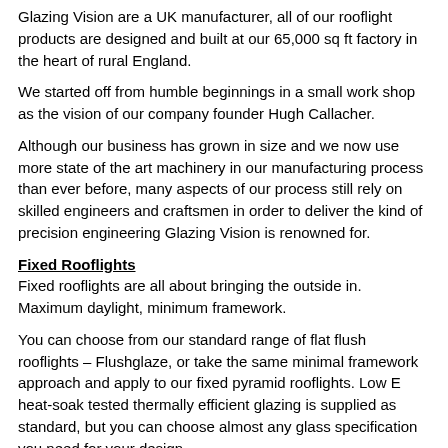Glazing Vision are a UK manufacturer, all of our rooflight products are designed and built at our 65,000 sq ft factory in the heart of rural England.
We started off from humble beginnings in a small work shop as the vision of our company founder Hugh Callacher.
Although our business has grown in size and we now use more state of the art machinery in our manufacturing process than ever before, many aspects of our process still rely on skilled engineers and craftsmen in order to deliver the kind of precision engineering Glazing Vision is renowned for.
Fixed Rooflights
Fixed rooflights are all about bringing the outside in. Maximum daylight, minimum framework.
You can choose from our standard range of flat flush rooflights – Flushglaze, or take the same minimal framework approach and apply to our fixed pyramid rooflights. Low E heat-soak tested thermally efficient glazing is supplied as standard, but you can choose almost any glass specification you need for your design.